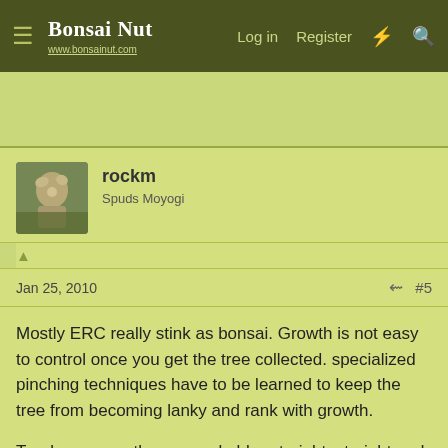Bonsai Nut — www.bonsainut.com — Log in  Register
rockm
Spuds Moyogi
Jan 25, 2010  #5
Mostly ERC really stink as bonsai. Growth is not easy to control once you get the tree collected. specialized pinching techniques have to be learned to keep the tree from becoming lanky and rank with growth.

Trunks are mostly unremarkable--straight, straight and straighter. Unless you can find one with a nice trunk with movement and some heft, they're not worth the effort to get them out of the ground.

They are, however, extremely common
[Figure (screenshot): User avatar photo showing a small dog or animal in outdoor setting]